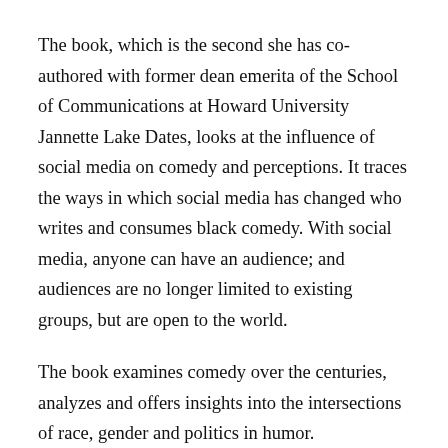The book, which is the second she has co-authored with former dean emerita of the School of Communications at Howard University Jannette Lake Dates, looks at the influence of social media on comedy and perceptions. It traces the ways in which social media has changed who writes and consumes black comedy. With social media, anyone can have an audience; and audiences are no longer limited to existing groups, but are open to the world.
The book examines comedy over the centuries, analyzes and offers insights into the intersections of race, gender and politics in humor.
“I’ve always enjoyed researching and writing about gender,” Moody-Ramirez said. “Previous studies have emphasized representation of women and people of color on traditional media platforms such as TV and newspapers